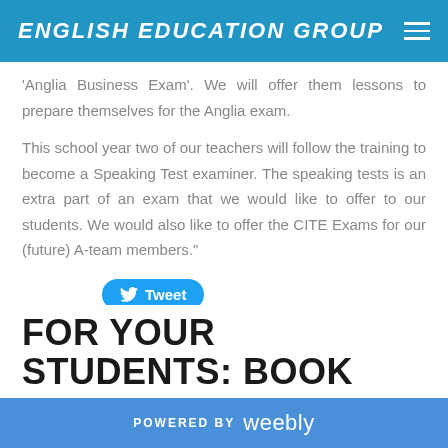ENGLISH EDUCATION GROUP
'Anglia Business Exam'. We will offer them lessons to prepare themselves for the Anglia exam.
This school year two of our teachers will follow the training to become a Speaking Test examiner. The speaking tests is an extra part of an exam that we would like to offer to our students. We would also like to offer the CITE Exams for our (future) A-team members."
Tweet
FOR YOUR STUDENTS: BOOK
POWERED BY weebly